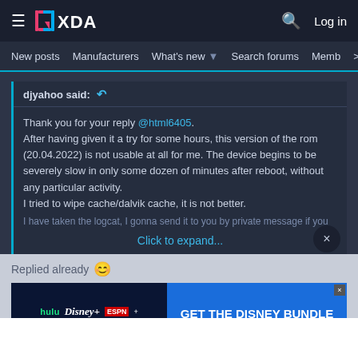XDA Developers forum navigation bar with logo, search icon, and Log in link
New posts  Manufacturers  What's new  Search forums  Members >
djyahoo said: [reply icon]
Thank you for your reply @html6405. After having given it a try for some hours, this version of the rom (20.04.2022) is not usable at all for me. The device begins to be severely slow in only some dozen of minutes after reboot, without any particular activity.
I tried to wipe cache/dalvik cache, it is not better.
I have taken the logcat, I gonna send it to you by private message if you
Click to expand...
Replied already
[Figure (screenshot): Disney Bundle advertisement banner showing Hulu, Disney+, ESPN+ logos with 'GET THE DISNEY BUNDLE' call to action on blue background. Small print: Incl. Hulu (ad-supported) or Hulu (No Ads). Access content from each service separately. ©2021 Disney and its related entities]